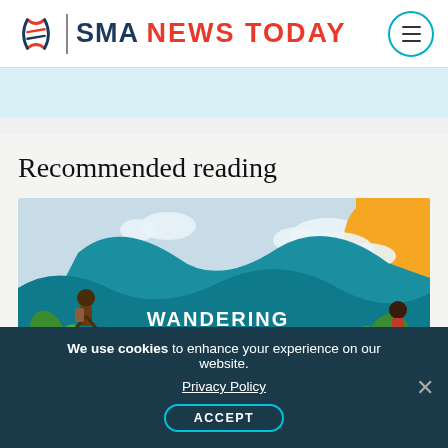SMA NEWS TODAY
[Figure (illustration): Light blue advertisement banner area]
Recommended reading
[Figure (illustration): Colorful illustrated article image with teal wave shapes, orange sun, green plants, clouds, and people. Text overlay reads WANDERING THE LINES]
We use cookies to enhance your experience on our website. Privacy Policy ACCEPT